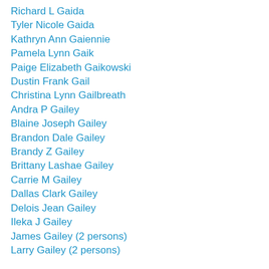Richard L Gaida
Tyler Nicole Gaida
Kathryn Ann Gaiennie
Pamela Lynn Gaik
Paige Elizabeth Gaikowski
Dustin Frank Gail
Christina Lynn Gailbreath
Andra P Gailey
Blaine Joseph Gailey
Brandon Dale Gailey
Brandy Z Gailey
Brittany Lashae Gailey
Carrie M Gailey
Dallas Clark Gailey
Delois Jean Gailey
Ileka J Gailey
James Gailey (2 persons)
Larry Gailey (2 persons)